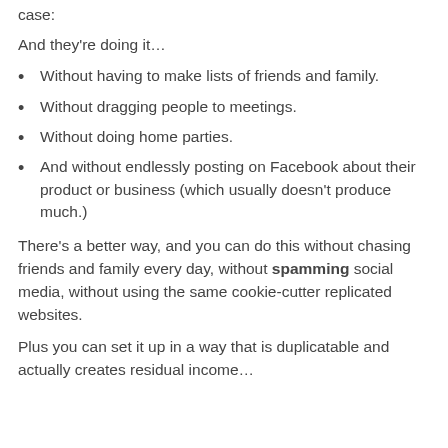case:
And they're doing it…
Without having to make lists of friends and family.
Without dragging people to meetings.
Without doing home parties.
And without endlessly posting on Facebook about their product or business (which usually doesn't produce much.)
There's a better way, and you can do this without chasing friends and family every day, without spamming social media, without using the same cookie-cutter replicated websites.
Plus you can set it up in a way that is duplicatable and actually creates residual income…